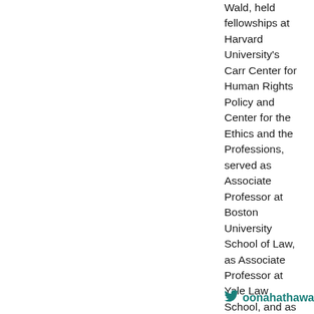Wald, held fellowships at Harvard University's Carr Center for Human Rights Policy and Center for the Ethics and the Professions, served as Associate Professor at Boston University School of Law, as Associate Professor at Yale Law School, and as Professor of Law at U.C. Berkeley. Her current research focuses on the intersection of domestic and international law. Professor Hathaway received the Carnegie Scholars Award in 2004, serves on the Executive Committee of the MacMillan Center at Yale University, serves as a member of the Advisory Committee on International Law for the Legal Adviser at the United States Department of State, and has testified before Congress several times on legal issues surrounding the U.S. war in Iraq. She earned her B.A. summa cum laude at Harvard University in 1994 and her J.D. at Yale Law School, where she was Editor-in-Chief of the Yale Law Journal, in 1997.
oonahathaway